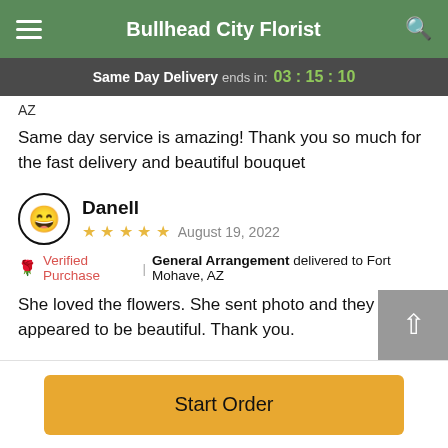Bullhead City Florist
Same Day Delivery ends in: 03 : 15 : 10
AZ
Same day service is amazing! Thank you so much for the fast delivery and beautiful bouquet
Danell
★★★★★  August 19, 2022
Verified Purchase | General Arrangement delivered to Fort Mohave, AZ
She loved the flowers. She sent photo and they appeared to be beautiful. Thank you.
Start Order